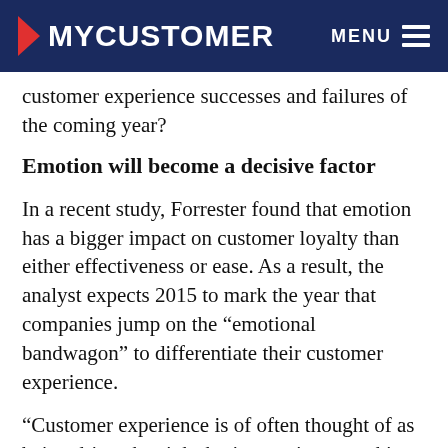MYCUSTOMER | MENU
customer experience successes and failures of the coming year?
Emotion will become a decisive factor
In a recent study, Forrester found that emotion has a bigger impact on customer loyalty than either effectiveness or ease. As a result, the analyst expects 2015 to mark the year that companies jump on the “emotional bandwagon” to differentiate their customer experience.
“Customer experience is of often thought of as being driven by right-brain practices – making things more effective and making processes more efficient,” says Michael Gazala, VP research director